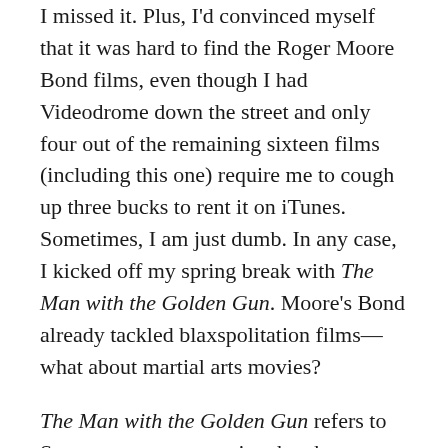I missed it. Plus, I'd convinced myself that it was hard to find the Roger Moore Bond films, even though I had Videodrome down the street and only four out of the remaining sixteen films (including this one) require me to cough up three bucks to rent it on iTunes. Sometimes, I am just dumb. In any case, I kicked off my spring break with The Man with the Golden Gun. Moore's Bond already tackled blaxspolitation films—what about martial arts movies?
The Man with the Golden Gun refers to Scaramanga, an assassin who charges a million dollars a hit and, yes, uses a golden gun, with golden bullets. When just such a golden bullet arrives at MI6 headquarters with 007 engraved into its side, M takes Bond off his current case and encourages him to investigate Scaramanga unofficially. But Scaramanga isn't your run of the mill